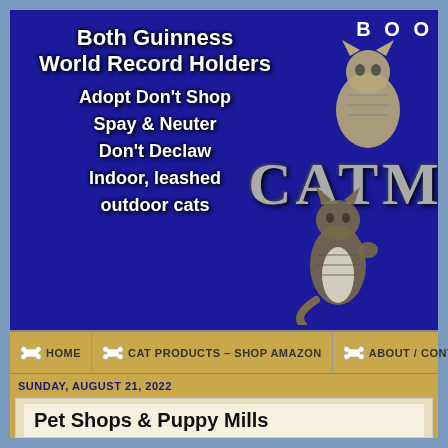[Figure (screenshot): Website banner for a cat blog showing a blue background with white bold text listing cat advocacy messages: 'Both Guinness World Record Holders', 'Adopt Don't Shop', 'Spay & Neuter', 'Don't Declaw', 'Indoor, leashed outdoor cats'. Right side shows partial text 'BOO' and 'CATM' in metallic letters with cat photos.]
HOME | CAT PRODUCTS – SHOP AMAZON | ABOUT / CONTA
SUNDAY, AUGUST 21, 2022
Pet Shops & Puppy Mills